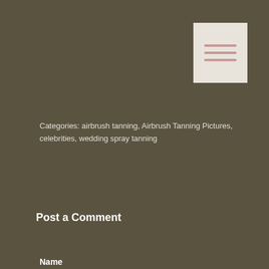[Figure (other): Menu hamburger icon — light beige rectangle with three horizontal salmon/pink lines]
Categories: airbrush tanning, Airbrush Tanning Pictures, celebrities, wedding spray tanning
[Figure (other): Share button — red/orange button with a small icon and the text 'Share']
Post a Comment
Name
[Figure (other): Name input field — light grey rounded rectangle text input]
Email
[Figure (other): Email input field — light grey rounded rectangle text input]
Message
[Figure (other): Message textarea — light grey rounded rectangle large text area]